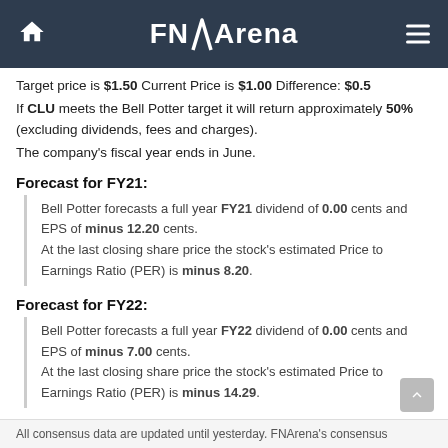FNArena
Target price is $1.50 Current Price is $1.00 Difference: $0.5
If CLU meets the Bell Potter target it will return approximately 50% (excluding dividends, fees and charges).
The company's fiscal year ends in June.
Forecast for FY21:
Bell Potter forecasts a full year FY21 dividend of 0.00 cents and EPS of minus 12.20 cents. At the last closing share price the stock's estimated Price to Earnings Ratio (PER) is minus 8.20.
Forecast for FY22:
Bell Potter forecasts a full year FY22 dividend of 0.00 cents and EPS of minus 7.00 cents. At the last closing share price the stock's estimated Price to Earnings Ratio (PER) is minus 14.29.
All consensus data are updated until yesterday. FNArena's consensus